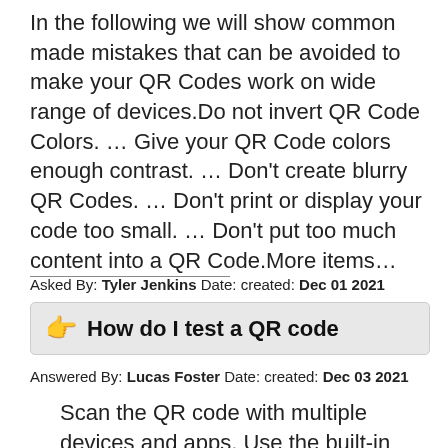In the following we will show common made mistakes that can be avoided to make your QR Codes work on wide range of devices.Do not invert QR Code Colors. … Give your QR Code colors enough contrast. … Don't create blurry QR Codes. … Don't print or display your code too small. … Don't put too much content into a QR Code.More items…
Asked By: Tyler Jenkins Date: created: Dec 01 2021
How do I test a QR code
Answered By: Lucas Foster Date: created: Dec 03 2021
Scan the QR code with multiple devices and apps. Use the built-in Camera apps